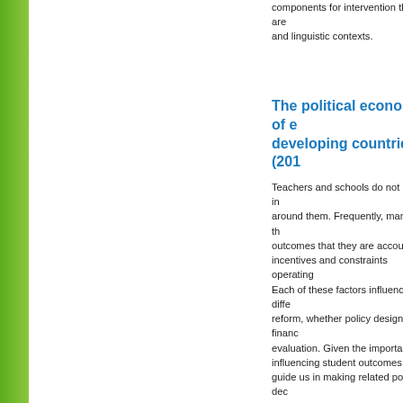components for intervention that are and linguistic contexts.
The political economy of e developing countries (201
Teachers and schools do not exist in around them. Frequently, many of th outcomes that they are accountable incentives and constraints operating Each of these factors influences diffe reform, whether policy design, financ evaluation. Given the importance of influencing student outcomes, there guide us in making related policy dec examining these issues in the case o amenable to a particular disciplinary through an inter-disciplinary approac review is to pull together the essentia disciplinary and interdisciplinary trad conceptual framework in which to sit economy issues in education resear carefully review the existing literature The review organises the literature a